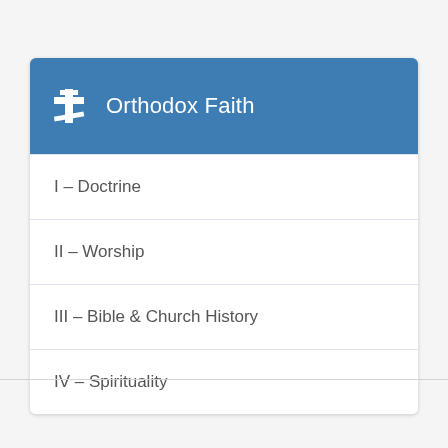Orthodox Faith
I – Doctrine
II – Worship
III – Bible & Church History
IV – Spirituality